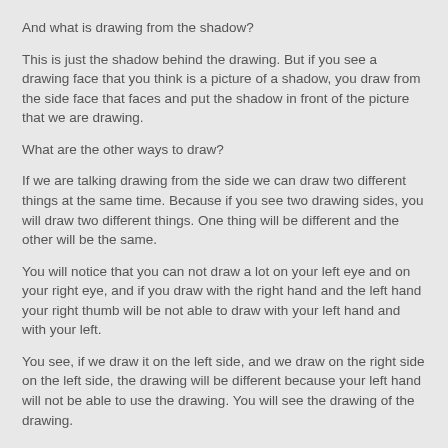And what is drawing from the shadow?
This is just the shadow behind the drawing. But if you see a drawing face that you think is a picture of a shadow, you draw from the side face that faces and put the shadow in front of the picture that we are drawing.
What are the other ways to draw?
If we are talking drawing from the side we can draw two different things at the same time. Because if you see two drawing sides, you will draw two different things. One thing will be different and the other will be the same.
You will notice that you can not draw a lot on your left eye and on your right eye, and if you draw with the right hand and the left hand your right thumb will be not able to draw with your left hand and with your left.
You see, if we draw it on the left side, and we draw on the right side on the left side, the drawing will be different because your left hand will not be able to use the drawing. You will see the drawing of the drawing.